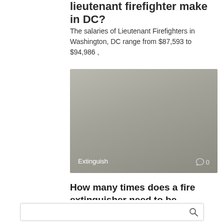lieutenant firefighter make in DC?
The salaries of Lieutenant Firefighters in Washington, DC range from $87,593 to $94,986 ,
[Figure (photo): Gray-toned image with label 'Extinguish' at bottom left and comment icon with '0' at bottom right]
How many times does a fire extinguisher need to be checked?
NFPA 10 requires extinguishers be inspected when they are initially installed and once a